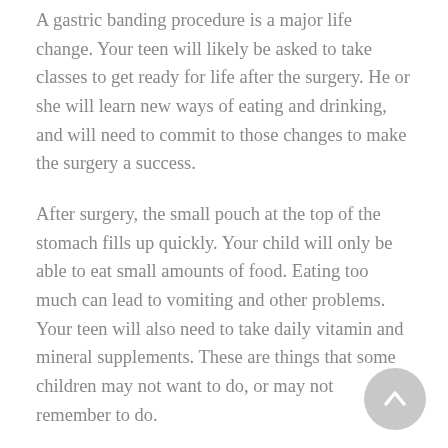A gastric banding procedure is a major life change. Your teen will likely be asked to take classes to get ready for life after the surgery. He or she will learn new ways of eating and drinking, and will need to commit to those changes to make the surgery a success.
After surgery, the small pouch at the top of the stomach fills up quickly. Your child will only be able to eat small amounts of food. Eating too much can lead to vomiting and other problems. Your teen will also need to take daily vitamin and mineral supplements. These are things that some children may not want to do, or may not remember to do.
Talk with your teen about all the changes that the surgery will mean. You can also ask your child’s healthcare provider about local weight-loss surgery